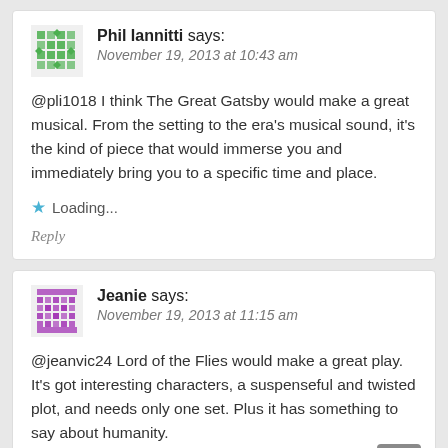Phil Iannitti says: November 19, 2013 at 10:43 am
@pli1018 I think The Great Gatsby would make a great musical. From the setting to the era's musical sound, it's the kind of piece that would immerse you and immediately bring you to a specific time and place.
Loading...
Reply
Jeanie says: November 19, 2013 at 11:15 am
@jeanvic24 Lord of the Flies would make a great play. It's got interesting characters, a suspenseful and twisted plot, and needs only one set. Plus it has something to say about humanity.
Loading...